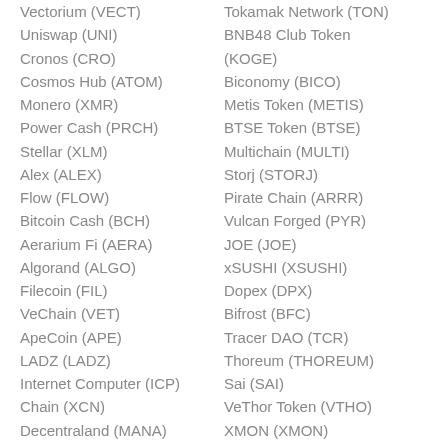Vectorium (VECT)
Uniswap (UNI)
Cronos (CRO)
Cosmos Hub (ATOM)
Monero (XMR)
Power Cash (PRCH)
Stellar (XLM)
Alex (ALEX)
Flow (FLOW)
Bitcoin Cash (BCH)
Aerarium Fi (AERA)
Algorand (ALGO)
Filecoin (FIL)
VeChain (VET)
ApeCoin (APE)
LADZ (LADZ)
Internet Computer (ICP)
Chain (XCN)
Decentraland (MANA)
Tokamak Network (TON)
BNB48 Club Token (KOGE)
Biconomy (BICO)
Metis Token (METIS)
BTSE Token (BTSE)
Multichain (MULTI)
Storj (STORJ)
Pirate Chain (ARRR)
Vulcan Forged (PYR)
JOE (JOE)
xSUSHI (XSUSHI)
Dopex (DPX)
Bifrost (BFC)
Tracer DAO (TCR)
Thoreum (THOREUM)
Sai (SAI)
VeThor Token (VTHO)
XMON (XMON)